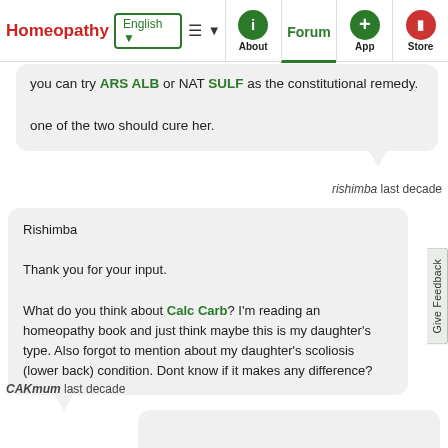Homeopathy | English ▼ | About | Forum | App | Store
you can try ARS ALB or NAT SULF as the constitutional remedy.

one of the two should cure her.
rishimba last decade
Rishimba

Thank you for your input.

What do you think about Calc Carb? I'm reading an homeopathy book and just think maybe this is my daughter's type. Also forgot to mention about my daughter's scoliosis (lower back) condition. Dont know if it makes any difference?
CAKmum last decade